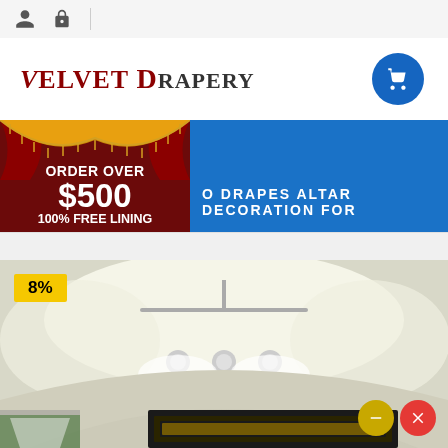[Figure (screenshot): Top navigation bar with user icon and lock icon on a light gray background]
[Figure (logo): Velvet Drapery logo in dark red serif italic font with shopping cart button]
[Figure (infographic): Promotional banner: ORDER OVER $500 100% FREE LINING with decorative curtain image on dark red background, and blue banner area with navigation text O DRAPES ALTAR DECORATION FOR]
O DRAPES ALTAR DECORATION FOR
[Figure (photo): Interior room photo with ceiling track lighting and circular architectural ceiling detail. 8% badge in yellow. Black decorative frame at bottom. Two action buttons (minus and close) at bottom right.]